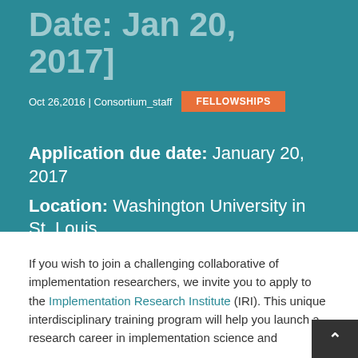Date: Jan 20, 2017]
Oct 26, 2016 | Consortium_staff  FELLOWSHIPS
Application due date: January 20, 2017
Location: Washington University in St. Louis
If you wish to join a challenging collaborative of implementation researchers, we invite you to apply to the Implementation Research Institute (IRI). This unique interdisciplinary training program will help you launch a research career in implementation science and